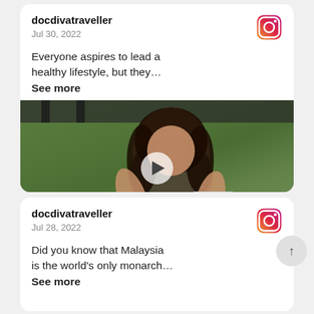docdivatraveller
Jul 30, 2022
Everyone aspires to lead a healthy lifestyle, but they…
See more
[Figure (photo): Woman with curly black hair wearing camouflage top, pouring from an orange product container outdoors with green plants in background. Play button overlay visible.]
docdivatraveller
Jul 28, 2022
Did you know that Malaysia is the world's only monarch…
See more